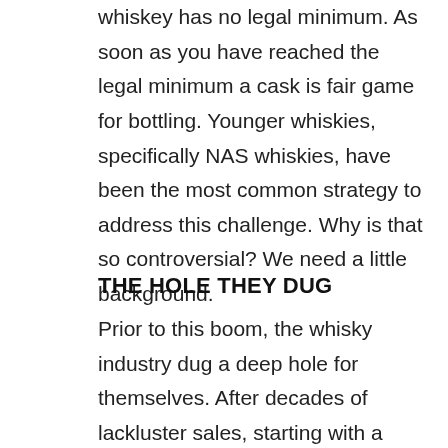whiskey has no legal minimum. As soon as you have reached the legal minimum a cask is fair game for bottling. Younger whiskies, specifically NAS whiskies, have been the most common strategy to address this challenge. Why is that so controversial? We need a little background.
THE HOLE THEY DUG
Prior to this boom, the whisky industry dug a deep hole for themselves. After decades of lackluster sales, starting with a terrible slump in the early 80s, they had huge aging stock reserves. Whisky just wasn't considered all that cool or interesting. So the whisky sat in warehouses, biding time.